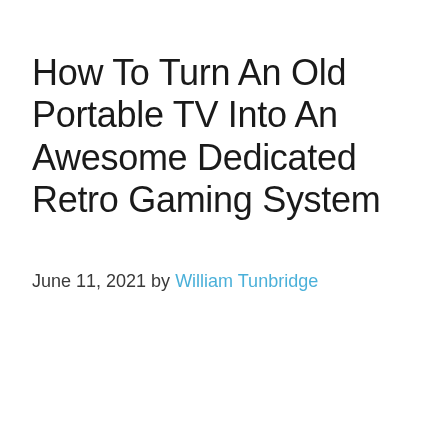How To Turn An Old Portable TV Into An Awesome Dedicated Retro Gaming System
June 11, 2021 by William Tunbridge